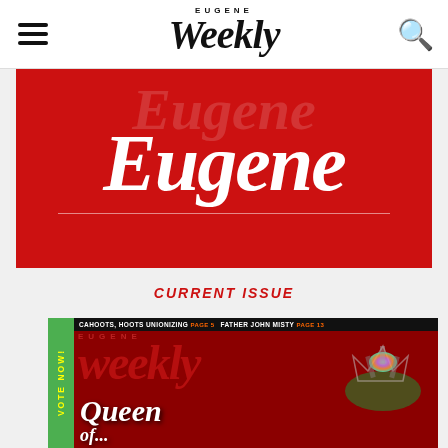Eugene Weekly
[Figure (logo): Eugene Weekly masthead logo - bold italic serif text reading 'weekly' with 'EUGENE' in small caps above, hamburger menu icon on left, search icon on right]
[Figure (illustration): Red banner with large white bold italic 'Eugene' text and a semi-transparent watermark version behind it, with a white horizontal dividing line below]
CURRENT ISSUE
[Figure (photo): Eugene Weekly magazine cover with dark red background. Green vertical side banner reads 'VOTE NOW!' in yellow. Top bar reads 'CAHOOTS, HOOTS UNIONIZING PAGE 5  FATHER JOHN MISTY PAGE 13'. Large 'Eugene Weekly' title in red. Bottom left shows 'Queen of...' in white bold italic. Cover shows a person wearing a colorful holographic crown with green hair.]